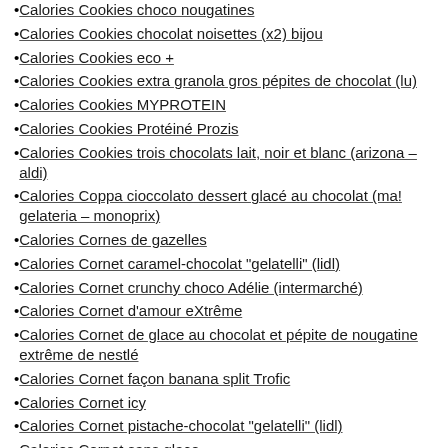Calories Cookies choco nougatines (partial, top cut off)
Calories Cookies chocolat noisettes (x2) bijou
Calories Cookies eco +
Calories Cookies extra granola gros pépites de chocolat (lu)
Calories Cookies MYPROTEIN
Calories Cookies Protéiné Prozis
Calories Cookies trois chocolats lait, noir et blanc (arizona – aldi)
Calories Coppa cioccolato dessert glacé au chocolat (ma! gelateria – monoprix)
Calories Cornes de gazelles
Calories Cornet caramel-chocolat "gelatelli" (lidl)
Calories Cornet crunchy choco Adélie (intermarché)
Calories Cornet d'amour eXtrême
Calories Cornet de glace au chocolat et pépite de nougatine extrême de nestlé
Calories Cornet façon banana split Trofic
Calories Cornet icy
Calories Cornet pistache-chocolat "gelatelli" (lidl)
Calories Cornet sans glace
Calories Cornet vanille-café Delhaize
Calories Cornetto enigma – chocolat
Calories Cornetto enigma cookie et chocolat
Calories Cornetto ... (partial, bottom cut off)